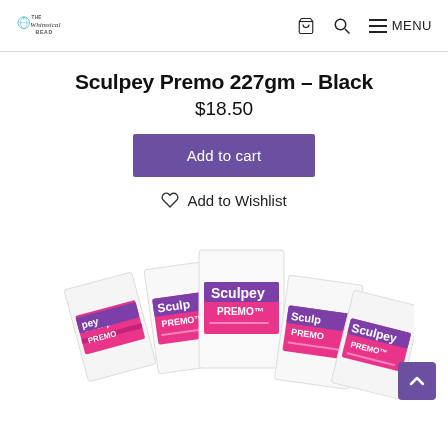The Whimsical Bead — navigation header with logo, cart icon, search icon, and MENU
Sculpey Premo 227gm – Black
$18.50
Add to cart
Add to Wishlist
[Figure (photo): Multiple white rectangular packages of Sculpey Premo polymer clay with pink and purple labels arranged in a group, partially visible at the bottom of the page]